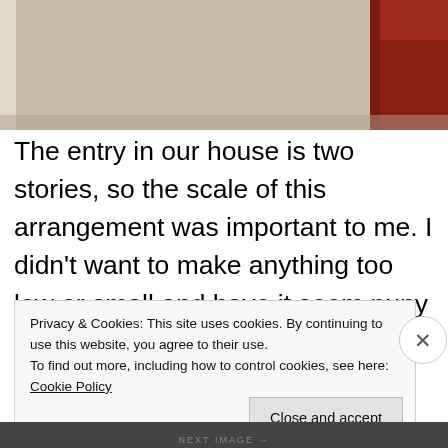[Figure (photo): Top portion of a room photo showing light-colored carpet flooring and a red/orange sofa in the top-right corner]
The entry in our house is two stories, so the scale of this arrangement was important to me. I didn’t want to make anything too low or small and have it seem puny in the space. I added another picture to heighten the display. It goes with my “family” theme that I have going on. There are four of us and there are
Privacy & Cookies: This site uses cookies. By continuing to use this website, you agree to their use.
To find out more, including how to control cookies, see here: Cookie Policy
Close and accept